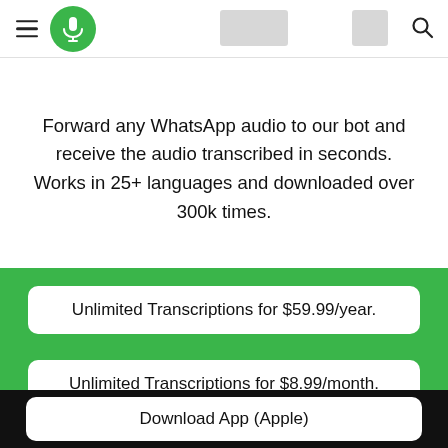Forward any WhatsApp audio to our bot and receive the audio transcribed in seconds. Works in 25+ languages and downloaded over 300k times.
Unlimited Transcriptions for $59.99/year.
Unlimited Transcriptions for $8.99/month.
Download App (Apple)